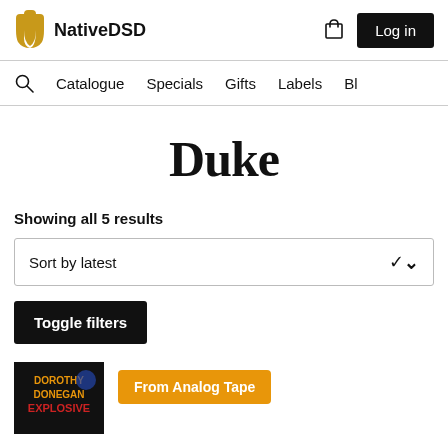NativeDSD | Log in
Catalogue  Specials  Gifts  Labels  Bl
Duke
Showing all 5 results
Sort by latest
Toggle filters
[Figure (photo): Album cover for Dorothy Donegan Explosive, dark background with yellow/red text. Partially visible at bottom of page.]
From Analog Tape